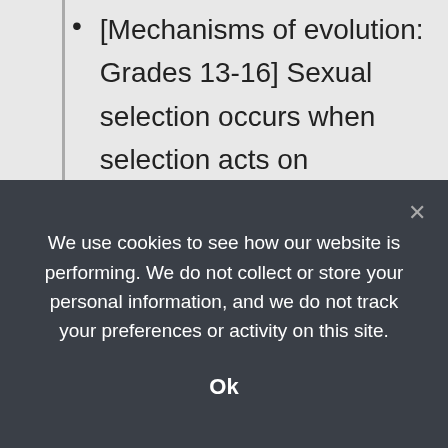[Mechanisms of evolution: Grades 13-16] Sexual selection occurs when selection acts on characteristics that affect the ability of individuals to obtain mates.
[Mechanisms of evolution: Grades 13-16] An individual's fitness (or relative fitness) is the contribution that individual...
We use cookies to see how our website is performing. We do not collect or store your personal information, and we do not track your preferences or activity on this site.
Ok